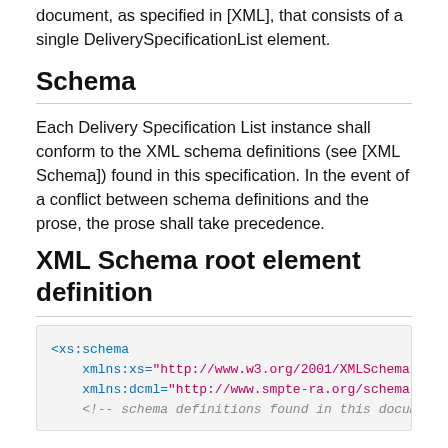document, as specified in [XML], that consists of a single DeliverySpecificationList element.
Schema
Each Delivery Specification List instance shall conform to the XML schema definitions (see [XML Schema]) found in this specification. In the event of a conflict between schema definitions and the prose, the prose shall take precedence.
XML Schema root element definition
[Figure (screenshot): Code block showing XML schema definition: <xs:schema xmlns:xs="http://www.w3.org/2001/XMLSchema" xmlns:dcml="http://www.smpte-ra.org/schemas/433" <!-- schema definitions found in this document -->]